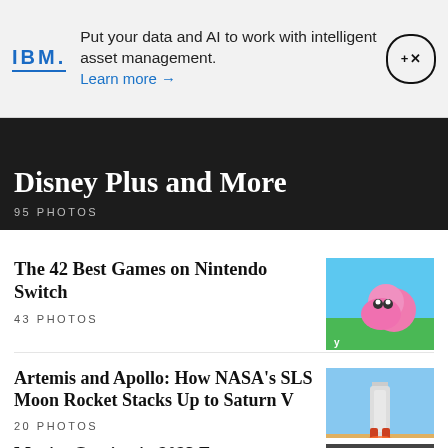[Figure (other): IBM advertisement banner with IBM logo, text 'Put your data and AI to work with intelligent asset management. Learn more →', and close button]
Disney Plus and More
95 PHOTOS
The 42 Best Games on Nintendo Switch
43 PHOTOS
Artemis and Apollo: How NASA's SLS Moon Rocket Stacks Up to Saturn V
20 PHOTOS
Movies Coming in 2023 From…